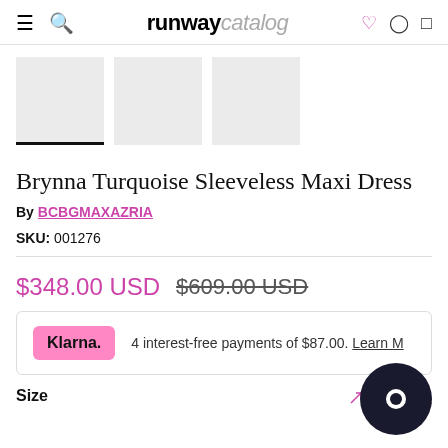runway catalog
[Figure (photo): Three product thumbnail images of a dress, first one active with underline indicator]
Brynna Turquoise Sleeveless Maxi Dress
By BCBGMAXAZRIA
SKU: 001276
$348.00 USD  $609.00 USD
Klarna. 4 interest-free payments of $87.00. Learn More
Size   Size Guide